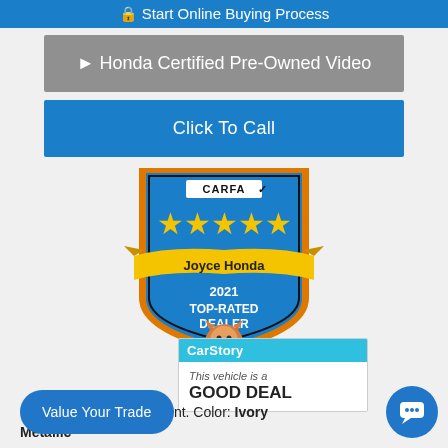[Figure (screenshot): Blue button partially visible at top: Start Online Buying Process]
▶ Honda Certified Pre-Owned Video
Click To Call
[Figure (logo): CARFAX 5-star badge: Joyce Honda 2021 TOP-RATED DEALER with Car Fox mascot]
[Figure (infographic): CarStory box: This vehicle is a GOOD DEAL]
Value Your Trade
Int. Color: Ivory
Metallic